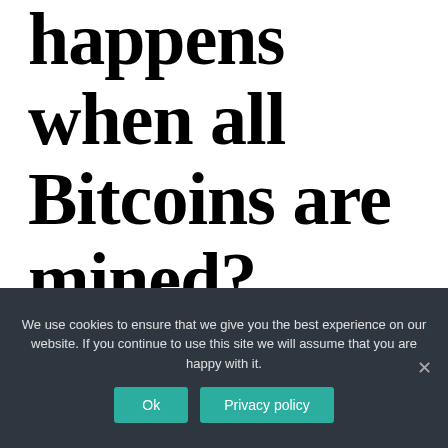happens when all Bitcoins are mined?
We use cookies to ensure that we give you the best experience on our website. If you continue to use this site we will assume that you are happy with it.